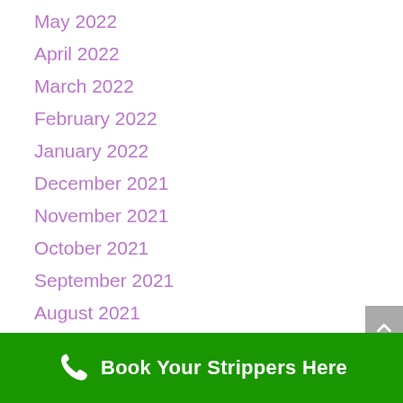May 2022
April 2022
March 2022
February 2022
January 2022
December 2021
November 2021
October 2021
September 2021
August 2021
July 2021
June 2021
May 2021
Book Your Strippers Here